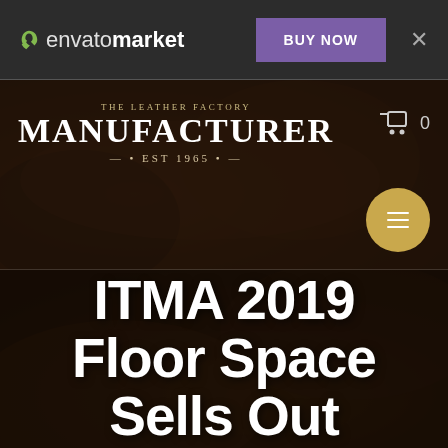envato market — BUY NOW
[Figure (screenshot): Website header section showing 'THE LEATHER FACTORY MANUFACTURER EST 1965' branding logo on a dark background with a shopping cart icon showing 0 items and a golden circular menu button with hamburger icon]
ITMA 2019 Floor Space Sells Out